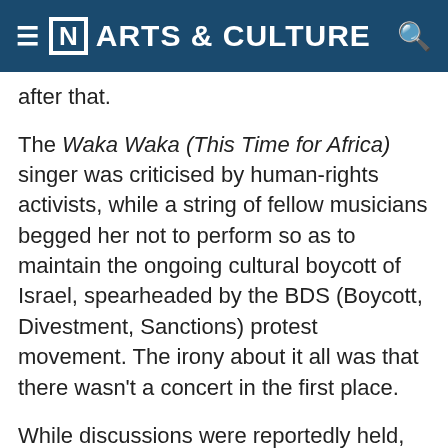[N] ARTS & CULTURE
after that.
The Waka Waka (This Time for Africa) singer was criticised by human-rights activists, while a string of fellow musicians begged her not to perform so as to maintain the ongoing cultural boycott of Israel, spearheaded by the BDS (Boycott, Divestment, Sanctions) protest movement. The irony about it all was that there wasn't a concert in the first place.
While discussions were reportedly held, Shakira had yet to announce an official gig in Tel Aviv. Despite that lack of clarity, the BDS movement chalked it up as another victory in its ongoing campaign to shed light on